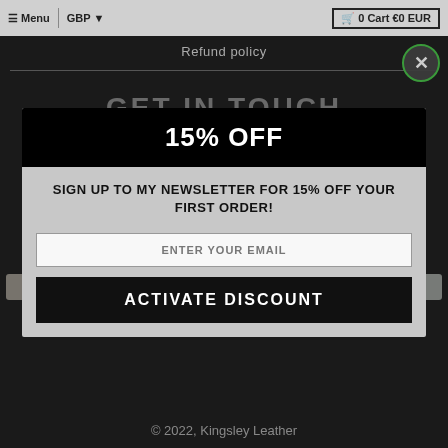≡ Menu | GBP ▾   🛒 0 Cart €0 EUR
Refund policy
GET IN TOUCH
hello@kingsley-leather.co.uk
15% OFF
SIGN UP TO MY NEWSLETTER FOR 15% OFF YOUR FIRST ORDER!
Accepted Payments
AMEX  Apple Pay  Diners  Mastercard  PayPal  GPay
ENTER YOUR EMAIL
ACTIVATE DISCOUNT
VISA
© 2022, Kingsley Leather